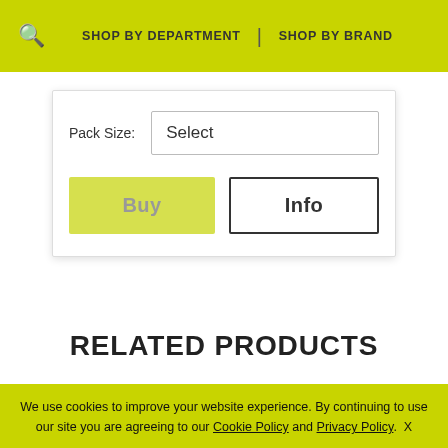SHOP BY DEPARTMENT | SHOP BY BRAND
Pack Size: Select
Buy
Info
RELATED PRODUCTS
We use cookies to improve your website experience. By continuing to use our site you are agreeing to our Cookie Policy and Privacy Policy.  X